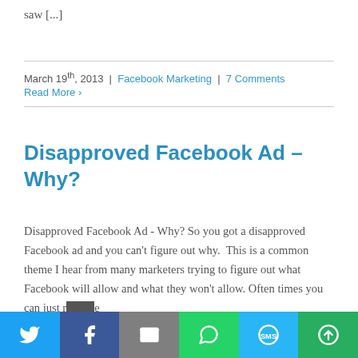saw [...]
March 19th, 2013 | Facebook Marketing | 7 Comments
Read More >
Disapproved Facebook Ad – Why?
Disapproved Facebook Ad - Why? So you got a disapproved Facebook ad and you can't figure out why. This is a common theme I hear from many marketers trying to figure out what Facebook will allow and what they won't allow. Often times you can just r[...]e
[Figure (other): Social sharing bar with Twitter, Facebook, Email, WhatsApp, SMS, and More buttons]